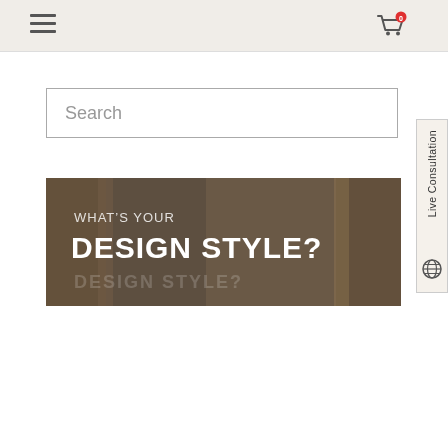Navigation header with hamburger menu and shopping cart icon with badge 0
Search
[Figure (photo): Interior design hero banner image showing curtains and furniture with overlay text: WHAT'S YOUR DESIGN STYLE?]
Live Consultation